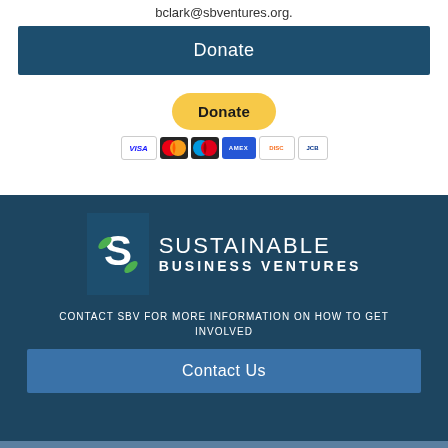bclark@sbventures.org.
Donate
[Figure (other): PayPal Donate button with yellow rounded rectangle and payment card icons (VISA, Mastercard, Maestro, Amex, Discover, JCB)]
[Figure (logo): Sustainable Business Ventures logo: dark blue square with stylized S and green leaves, text SUSTAINABLE BUSINESS VENTURES]
CONTACT SBV FOR MORE INFORMATION ON HOW TO GET INVOLVED
Contact Us